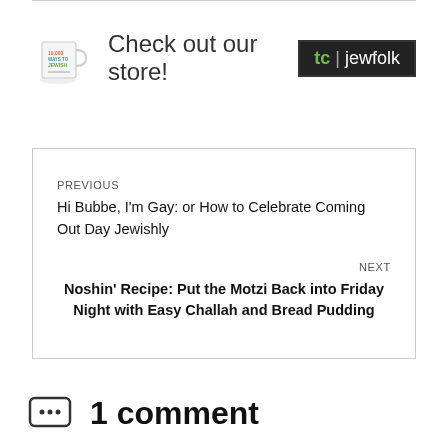[Figure (logo): Store banner with mug icon, 'Check out our store!' text, and tc|jewfolk logo]
PREVIOUS
Hi Bubbe, I'm Gay: or How to Celebrate Coming Out Day Jewishly
NEXT
Noshin' Recipe: Put the Motzi Back into Friday Night with Easy Challah and Bread Pudding
1 comment